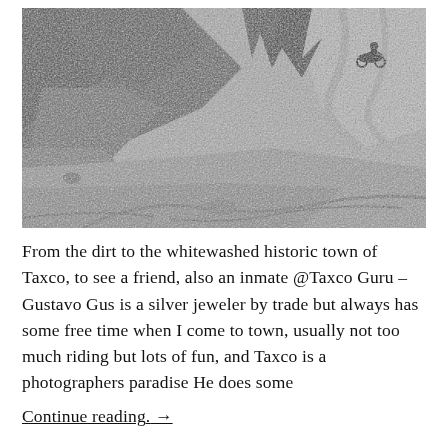[Figure (photo): Black and white photograph of a dirt road/trail with rocky terrain and a motorcyclist visible in the upper right background. The landscape shows rocky hillside and curved dirt paths.]
From the dirt to the whitewashed historic town of Taxco, to see a friend, also an inmate @Taxco Guru – Gustavo Gus is a silver jeweler by trade but always has some free time when I come to town, usually not too much riding but lots of fun, and Taxco is a photographers paradise He does some
Continue reading. →